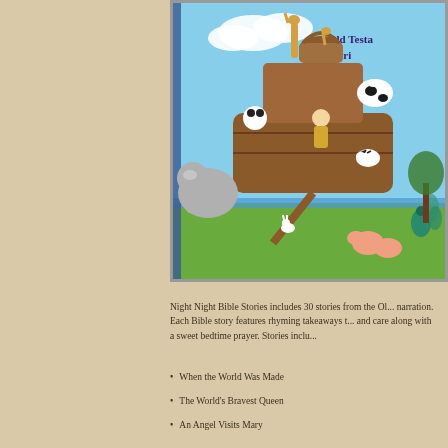[Figure (photo): Photograph of an illustrated children's book open to a page showing Noah's Ark scene with animals (panda, elephant, giraffe, cow, zebra, rabbits, pigs, peacock) and Noah, with text 'Old Testa... Stori...' visible in the top right corner]
Night Night Bible Stories includes 30 stories from the Ol... narration. Each Bible story features rhyming takeaways t... and care along with a sweet bedtime prayer. Stories inclu...
When the World Was Made
The World's Bravest Queen
An Angel Visits Mary